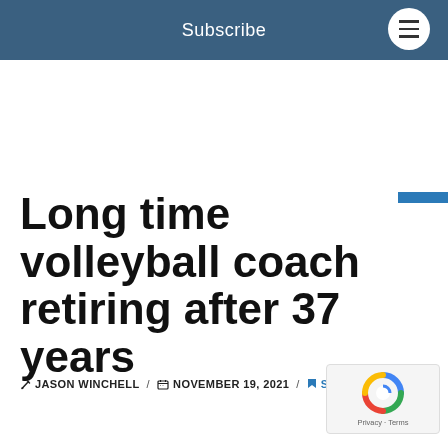Subscribe
Long time volleyball coach retiring after 37 years
JASON WINCHELL / NOVEMBER 19, 2021 / SPORTS